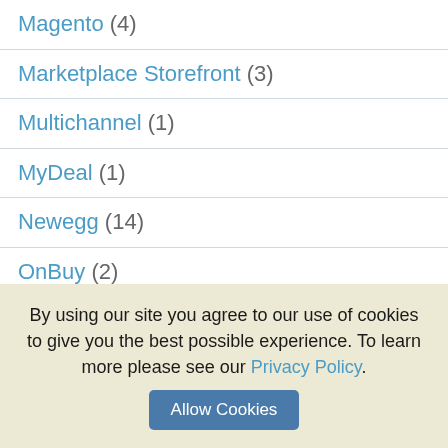Magento (4)
Marketplace Storefront (3)
Multichannel (1)
MyDeal (1)
Newegg (14)
OnBuy (2)
Overstock (7)
Photoshop (16)
Rakuten (2)
By using our site you agree to our use of cookies to give you the best possible experience. To learn more please see our Privacy Policy.